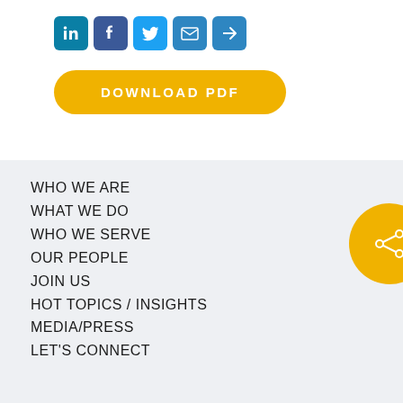[Figure (other): Social media sharing icons: LinkedIn, Facebook, Twitter, Email, Share]
DOWNLOAD PDF
WHO WE ARE
WHAT WE DO
WHO WE SERVE
OUR PEOPLE
JOIN US
HOT TOPICS / INSIGHTS
MEDIA/PRESS
LET'S CONNECT
[Figure (other): Yellow circle with share/network icon]
CLIENT LOGIN